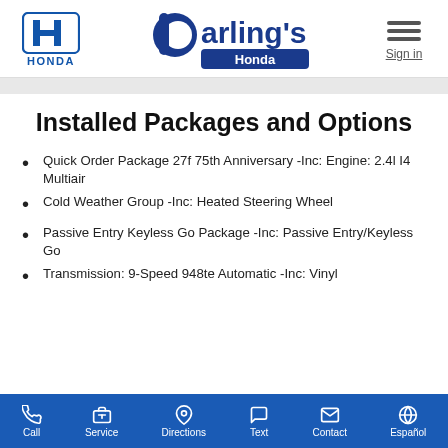Honda | Darling's Honda | Sign in
Installed Packages and Options
Quick Order Package 27f 75th Anniversary -Inc: Engine: 2.4l I4 Multiair
Cold Weather Group -Inc: Heated Steering Wheel
Passive Entry Keyless Go Package -Inc: Passive Entry/Keyless Go
Transmission: 9-Speed 948te Automatic -Inc: Vinyl
Call | Service | Directions | Text | Contact | Español